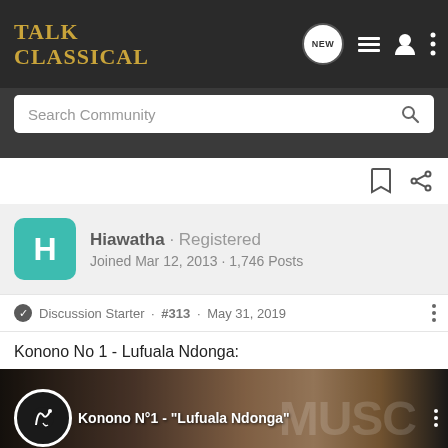Talk Classical
Search Community
Hiawatha · Registered
Joined Mar 12, 2013 · 1,746 Posts
Discussion Starter · #313 · May 31, 2019
Konono No 1 - Lufuala Ndonga:
[Figure (screenshot): Video thumbnail showing Konono N°1 - 'Lufuala Ndonga' with circular logo on left and performers in background]